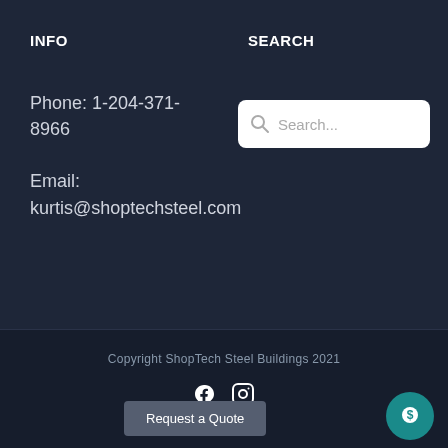INFO
SEARCH
Phone: 1-204-371-8966
Email:
kurtis@shoptechsteel.com
[Figure (other): Search input box with magnifying glass icon and placeholder text 'Search...']
Copyright ShopTech Steel Buildings 2021
[Figure (other): Facebook and Instagram social media icons]
Request a Quote